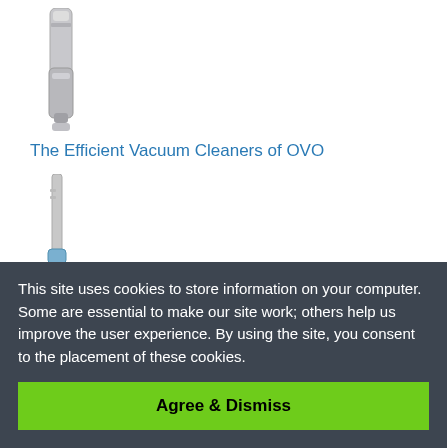[Figure (photo): A silver canister/tower vacuum cleaner product image]
The Efficient Vacuum Cleaners of OVO
[Figure (photo): A silver stick vacuum cleaner product image]
Introduction to Zenith Technologies Vacuums
[Figure (photo): A black handheld car vacuum cleaner with signal/wifi icons]
The Awesome Car Vacuum Cleaners of Liberrway
[Figure (photo): Partial product image of a vacuum cleaner, partially obscured by cookie banner]
This site uses cookies to store information on your computer. Some are essential to make our site work; others help us improve the user experience. By using the site, you consent to the placement of these cookies.
Agree & Dismiss
Ultimate Guide to Stick Vacuums